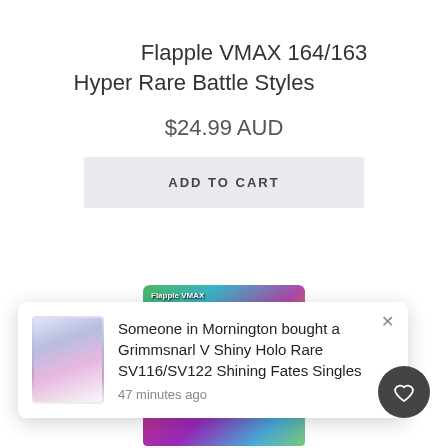Flapple VMAX 164/163 Hyper Rare Battle Styles
$24.99 AUD
ADD TO CART
[Figure (screenshot): Trading card product image showing Flapple VMAX card with colorful art]
[Figure (screenshot): Bottom portion of another trading card visible]
Someone in Mornington bought a Grimmsnarl V Shiny Holo Rare SV116/SV122 Shining Fates Singles
47 minutes ago